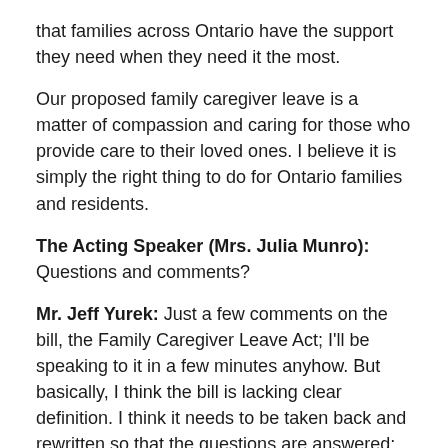that families across Ontario have the support they need when they need it the most.
Our proposed family caregiver leave is a matter of compassion and caring for those who provide care to their loved ones. I believe it is simply the right thing to do for Ontario families and residents.
The Acting Speaker (Mrs. Julia Munro): Questions and comments?
Mr. Jeff Yurek: Just a few comments on the bill, the Family Caregiver Leave Act; I'll be speaking to it in a few minutes anyhow. But basically, I think the bill is lacking clear definition. I think it needs to be taken back and rewritten so that the questions are answered; so that we can actually have a good debate on this bill.
I thank the speaker for her time, but basically, the minister's staff has yet to provide that there is actually a need for this legislation. We already have family medical leave and